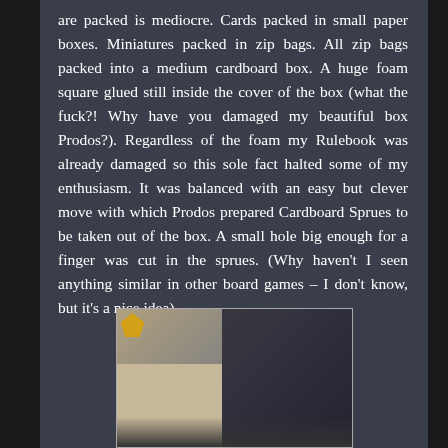are packed is mediocre. Cards packed in small paper boxes. Miniatures packed in zip bags. All zip bags packed into a medium cardboard box. A huge foam square glued still inside the cover of the box (what the fuck?! Why have you damaged my beautiful box Prodos?). Regardless of the foam my Rulebook was already damaged so this sole fact halted some of my enthusiasm. It was balanced with an easy but clever move with which Prodos prepared Cardboard Sprues to be taken out of the box. A small hole big enough for a finger was cut in the sprues. (Why haven't I seen anything similar in other board games – I don't know, but it's a nice idea).
[Figure (photo): A photo showing the interior of a board game box with cardboard components, miniatures or cardboard sprues visible, with dark and light areas. A small yellow icon is visible in the top-left corner of the photo.]